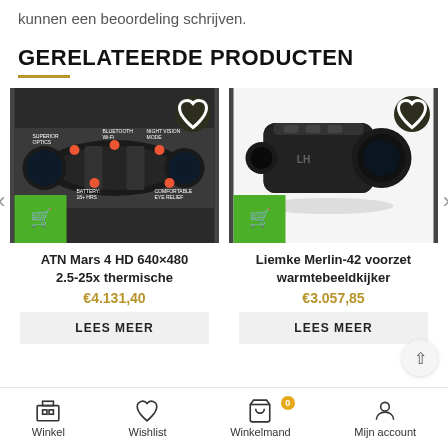kunnen een beoordeling schrijven.
GERELATEERDE PRODUCTEN
[Figure (photo): ATN Mars 4 HD thermal riflescope mounted on a rifle, with feature callout labels and red dots indicating features like Bluetooth, Wi-Fi, battery, superior optics, comfortable eye relief]
ATN Mars 4 HD 640×480 2.5-25x thermische
€4.131,40
LEES MEER
[Figure (photo): Liemke Merlin-42 thermal monocular, black device shown from side angle]
Liemke Merlin-42 voorzet warmtebeeldkijker
€3.057,85
LEES MEER
Winkel  Wishlist  Winkelmand (0)  Mijn account